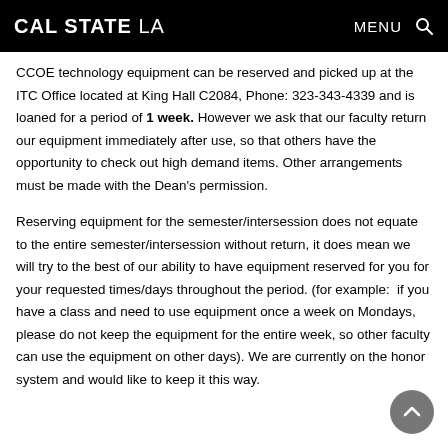CAL STATE LA  MENU 🔍
CCOE technology equipment can be reserved and picked up at the ITC Office located at King Hall C2084, Phone: 323-343-4339 and is loaned for a period of 1 week. However we ask that our faculty return our equipment immediately after use, so that others have the opportunity to check out high demand items. Other arrangements must be made with the Dean's permission.
Reserving equipment for the semester/intersession does not equate to the entire semester/intersession without return, it does mean we will try to the best of our ability to have equipment reserved for you for your requested times/days throughout the period. (for example:  if you have a class and need to use equipment once a week on Mondays, please do not keep the equipment for the entire week, so other faculty can use the equipment on other days). We are currently on the honor system and would like to keep it this way.